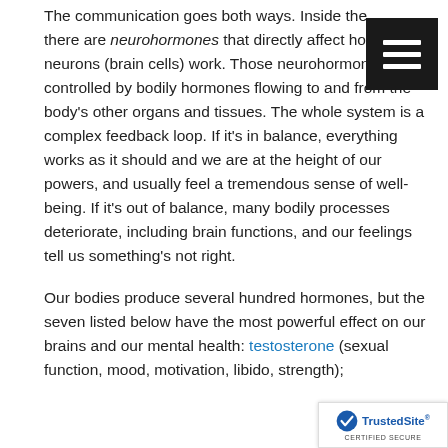The communication goes both ways. Inside the [brain] there are neurohormones that directly affect how neurons (brain cells) work. Those neurohormones are controlled by bodily hormones flowing to and from the body's other organs and tissues. The whole system is a complex feedback loop. If it's in balance, everything works as it should and we are at the height of our powers, and usually feel a tremendous sense of well-being. If it's out of balance, many bodily processes deteriorate, including brain functions, and our feelings tell us something's not right.
Our bodies produce several hundred hormones, but the seven listed below have the most powerful effect on our brains and our mental health: testosterone (sexual function, mood, motivation, libido, strength);
[Figure (other): Dark menu/hamburger button icon with three white horizontal lines on black background, positioned top right]
[Figure (other): TrustedSite CERTIFIED SECURE badge at bottom right corner]